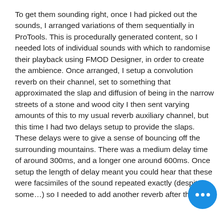To get them sounding right, once I had picked out the sounds, I arranged variations of them sequentially in ProTools. This is procedurally generated content, so I needed lots of individual sounds with which to randomise their playback using FMOD Designer, in order to create the ambience. Once arranged, I setup a convolution reverb on their channel, set to something that approximated the slap and diffusion of being in the narrow streets of a stone and wood city I then sent varying amounts of this to my usual reverb auxiliary channel, but this time I had two delays setup to provide the slaps. These delays were to give a sense of bouncing off the surrounding mountains. There was a medium delay time of around 300ms, and a longer one around 600ms. Once setup the length of delay meant you could hear that these were facsimiles of the sound repeated exactly (despite some…) so I needed to add another reverb after the
[Figure (other): Blue circular floating action button with three white dots (ellipsis/more options icon)]